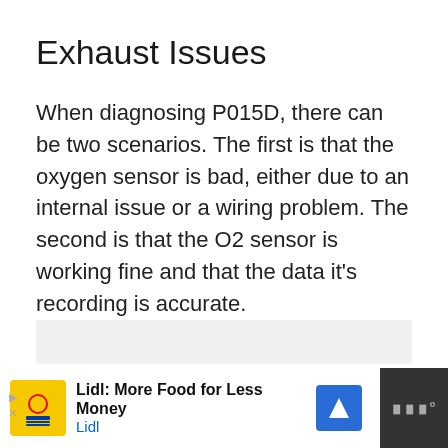Exhaust Issues
When diagnosing P015D, there can be two scenarios. The first is that the oxygen sensor is bad, either due to an internal issue or a wiring problem. The second is that the O2 sensor is working fine and that the data it's recording is accurate.
[Figure (other): Gray placeholder box for an image or advertisement area]
Lidl: More Food for Less Money — Lidl (advertisement banner)